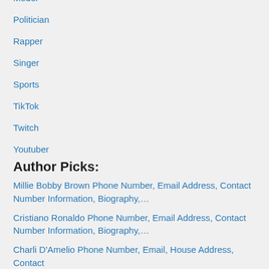Model
Politician
Rapper
Singer
Sports
TikTok
Twitch
Youtuber
Author Picks:
Millie Bobby Brown Phone Number, Email Address, Contact Number Information, Biography,…
Cristiano Ronaldo Phone Number, Email Address, Contact Number Information, Biography,…
Charli D'Amelio Phone Number, Email, House Address, Contact